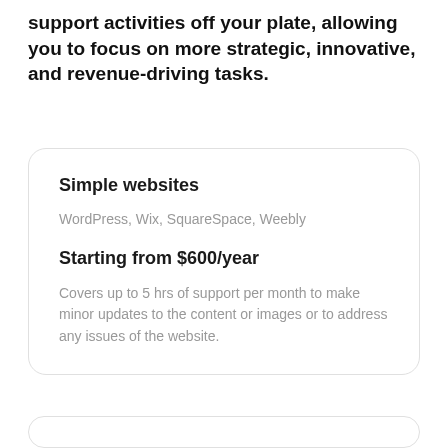support activities off your plate, allowing you to focus on more strategic, innovative, and revenue-driving tasks.
Simple websites
WordPress, Wix, SquareSpace, Weebly
Starting from $600/year
Covers up to 5 hrs of support per month to make minor updates to the content or images or to address any issues of the website.